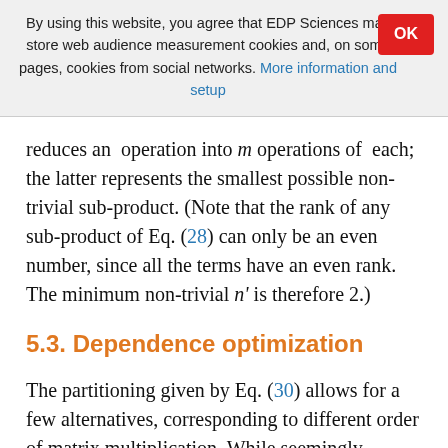By using this website, you agree that EDP Sciences may store web audience measurement cookies and, on some pages, cookies from social networks. More information and setup
reduces an operation into m operations of each; the latter represents the smallest possible non-trivial sub-product. (Note that the rank of any sub-product of Eq. (28) can only be an even number, since all the terms have an even rank. The minimum non-trivial n' is therefore 2.)
5.3. Dependence optimization
The partitioning given by Eq. (30) allows for a few alternatives, corresponding to different order of matrix multiplication. While seemingly equivalent, they may in fact represent a huge opportunity for optimization, when we consider that in real life, the equation needs to